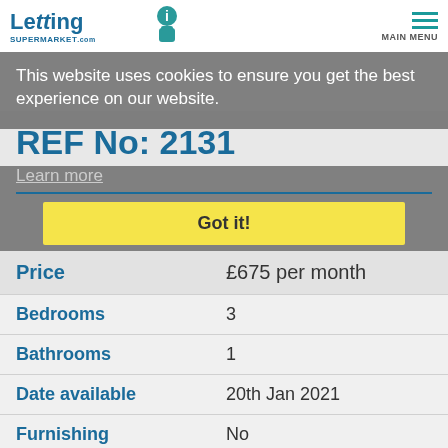Letting Supermarket .com — MAIN MENU
This website uses cookies to ensure you get the best experience on our website.
REF No: 2131
Learn More
Got it!
| Property Detail | Value |
| --- | --- |
| Price | £675 per month |
| Bedrooms | 3 |
| Bathrooms | 1 |
| Date available | 20th Jan 2021 |
| Furnishing | No |
| Property type | Semi-Detached |
| Status | Let |